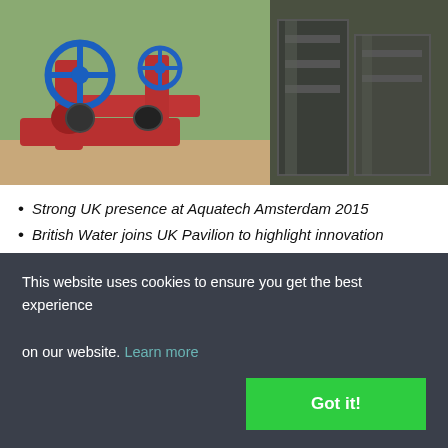[Figure (photo): Photo of industrial water pipes and valves — red pipes with blue valve wheels on the left, and large dark metal tanks/equipment on the right, outdoors.]
Strong UK presence at Aquatech Amsterdam 2015
British Water joins UK Pavilion to highlight innovation
Delegates encouraged to make new global links
A leading UK trade organisation has promised to help companies make the most of the opportunities at global water event Aquatech
This website uses cookies to ensure you get the best experience on our website. Learn more